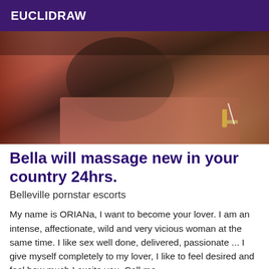EUCLIDRAW
[Figure (photo): A photo of a person lying on a pink bed wearing black lingerie and a red accessory, with a tattoo visible on their arm.]
Bella will massage new in your country 24hrs.
Belleville pornstar escorts
My name is ORIANa, I want to become your lover. I am an intense, affectionate, wild and very vicious woman at the same time. I like sex well done, delivered, passionate ... I give myself completely to my lover, I like to feel desired and feel how much I excite you. Call me